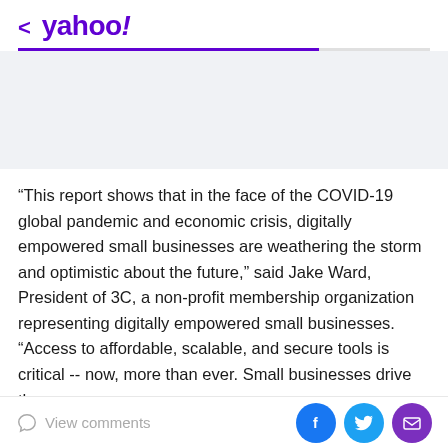< yahoo!
“This report shows that in the face of the COVID-19 global pandemic and economic crisis, digitally empowered small businesses are weathering the storm and optimistic about the future,” said Jake Ward, President of 3C, a non-profit membership organization representing digitally empowered small businesses. “Access to affordable, scalable, and secure tools is critical -- now, more than ever. Small businesses drive the
View comments